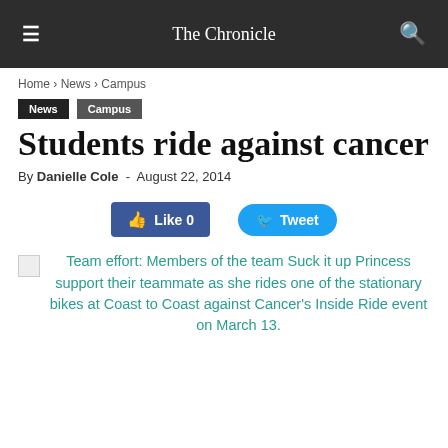The Chronicle
Home › News › Campus
News   Campus
Students ride against cancer
By Danielle Cole - August 22, 2014
[Figure (other): Facebook Like button with count 0 and Twitter Tweet button]
Team effort: Members of the team Suck it up Princess support their teammate as she rides one of the stationary bikes at Coast to Coast against Cancer's Inside Ride event on March 13.